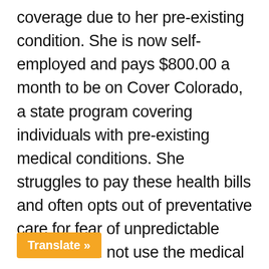coverage due to her pre-existing condition. She is now self-employed and pays $800.00 a month to be on Cover Colorado, a state program covering individuals with pre-existing medical conditions. She struggles to pay these health bills and often opts out of preventative care for fear of unpredictable costs. " I did not use the medical system the way I should have and as an older adult preventive care is essential." Ms. Tosher blames her recent pneumonia, a lung infection, on her lack of access to affordable care. You should be able to see your doctor without ble costs to help you avoid
Translate »